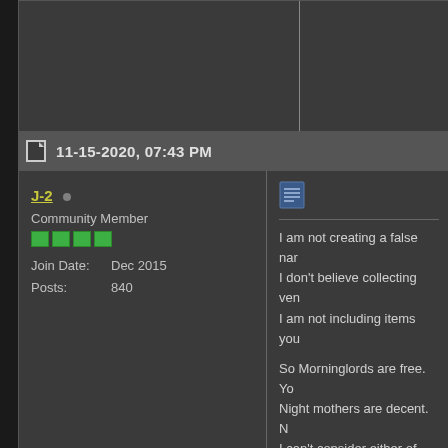11-15-2020, 07:43 PM
J-2 • Community Member
Join Date: Dec 2015
Posts: 840
I am not creating a false nar
I don't believe collecting ven
I am not including items you

So Morninglords are free. Yo
Night mothers are decent. N
I can't consider either of thos

The only reason I'm plodding
The kind that gives a specifi
The only reason I am now d
I knew it was bad before, bu

I am kind of surprised that so
I throw both the nightmother
That's mostly because I can
My sentient gems are all fed
Is there a new exploit? Can y

I'm nearing a hundred chests
I don't want to spoil anything